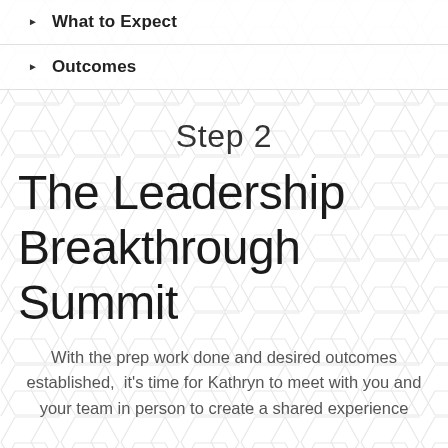What to Expect
Outcomes
Step 2
The Leadership Breakthrough Summit
With the prep work done and desired outcomes established,  it's time for Kathryn to meet with you and your team in person to create a shared experience